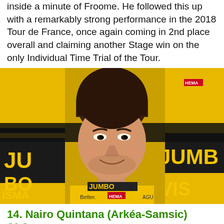inside a minute of Froome. He followed this up with a remarkably strong performance in the 2018 Tour de France, once again coming in 2nd place overall and claiming another Stage win on the only Individual Time Trial of the Tour.
[Figure (photo): A young male cyclist smiling, wearing a yellow and black Jumbo-Visma cycling jersey with sponsors including HEMA, Better, AGU, VISMA, and Jumbo. Other team members in similar jerseys are visible in the background.]
14. Nairo Quintana (Arkéa-Samsic) €1.9m
Nicknamed "Nairoman" and "El Cóndor de los Andes", Quintana is a specialist climber, known for his ability to